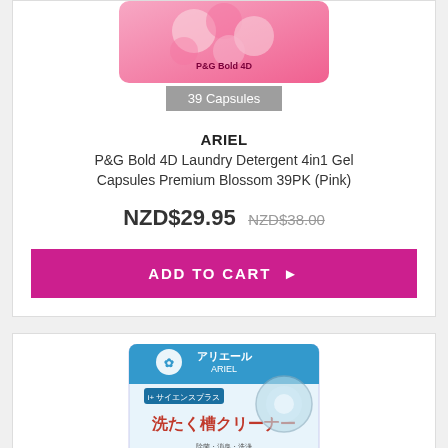[Figure (photo): Pink floral laundry detergent capsule package, partially cropped at top]
39 Capsules
ARIEL
P&G Bold 4D Laundry Detergent 4in1 Gel Capsules Premium Blossom 39PK (Pink)
NZD$29.95 NZD$38.00
ADD TO CART ▶
[Figure (photo): Ariel brand Japanese laundry drum cleaner powder product package, white and blue, with Japanese text]